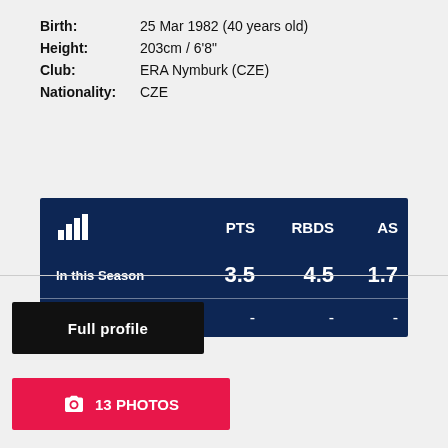Birth: 25 Mar 1982 (40 years old)
Height: 203cm / 6'8"
Club: ERA Nymburk (CZE)
Nationality: CZE
|  | PTS | RBDS | AS |
| --- | --- | --- | --- |
| In this Season | 3.5 | 4.5 | 1.7 |
| Avg. per Season | - | - | - |
Full profile
13 PHOTOS